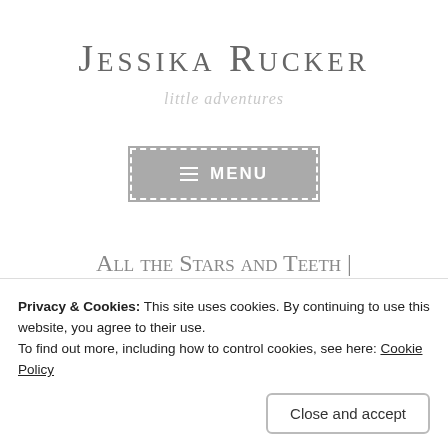Jessika Rucker
little adventures
[Figure (other): Menu button with hamburger icon and MENU text on grey background with dashed white border]
All the Stars and Teeth | A...Mi...Cr...
Privacy & Cookies: This site uses cookies. By continuing to use this website, you agree to their use.
To find out more, including how to control cookies, see here: Cookie Policy
Close and accept